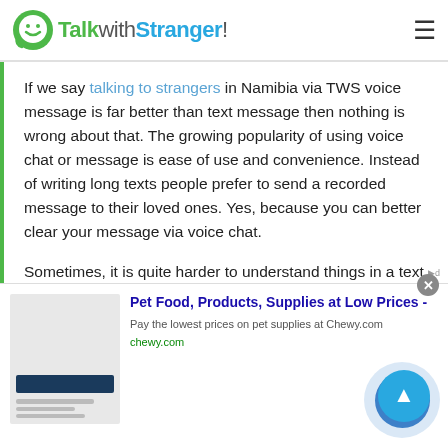TalkwithStranger!
If we say talking to strangers in Namibia via TWS voice message is far better than text message then nothing is wrong about that. The growing popularity of using voice chat or message is ease of use and convenience. Instead of writing long texts people prefer to send a recorded message to their loved ones. Yes, because you can better clear your message via voice chat.
Sometimes, it is quite harder to understand things in a text message. People will perceive things in the
[Figure (screenshot): Advertisement banner for Chewy.com pet food products with headline 'Pet Food, Products, Supplies at Low Prices -' and description 'Pay the lowest prices on pet supplies at Chewy.com', with a right-arrow button and close button]